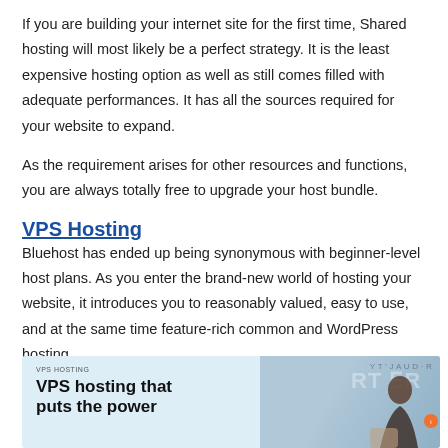If you are building your internet site for the first time, Shared hosting will most likely be a perfect strategy. It is the least expensive hosting option as well as still comes filled with adequate performances. It has all the sources required for your website to expand.
As the requirement arises for other resources and functions, you are always totally free to upgrade your host bundle.
VPS Hosting
Bluehost has ended up being synonymous with beginner-level host plans. As you enter the brand-new world of hosting your website, it introduces you to reasonably valued, easy to use, and at the same time feature-rich common and WordPress hosting.
[Figure (screenshot): Screenshot of a VPS Hosting promotional banner showing 'VPS hosting that puts the power' text on a light blue background with a person in the background and mirror-text effect.]